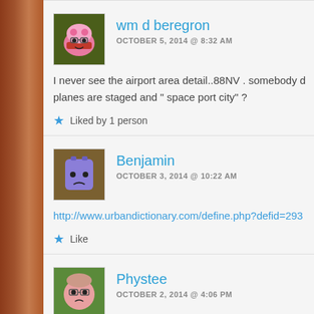wm d beregron
OCTOBER 5, 2014 @ 8:32 AM
I never see the airport area detail..88NV . somebody d planes are staged and " space port city" ?
Liked by 1 person
Benjamin
OCTOBER 3, 2014 @ 10:22 AM
http://www.urbandictionary.com/define.php?defid=293...
Like
Phystee
OCTOBER 2, 2014 @ 4:06 PM
My only question is what do the different red marks me shape and red dots? I know red X mean a large item b others would be great. Thanks..